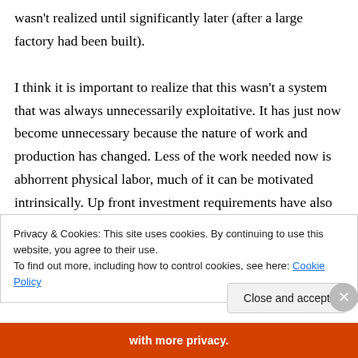wasn't realized until significantly later (after a large factory had been built).
I think it is important to realize that this wasn't a system that was always unnecessarily exploitative. It has just now become unnecessary because the nature of work and production has changed. Less of the work needed now is abhorrent physical labor, much of it can be motivated intrinsically. Up front investment requirements have also decreased
Privacy & Cookies: This site uses cookies. By continuing to use this website, you agree to their use.
To find out more, including how to control cookies, see here: Cookie Policy
Close and accept
with more privacy.